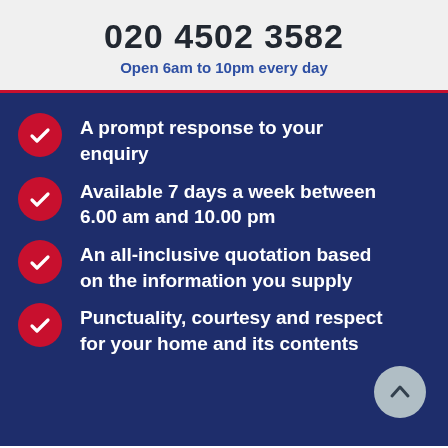020 4502 3582
Open 6am to 10pm every day
A prompt response to your enquiry
Available 7 days a week between 6.00 am and 10.00 pm
An all-inclusive quotation based on the information you supply
Punctuality, courtesy and respect for your home and its contents